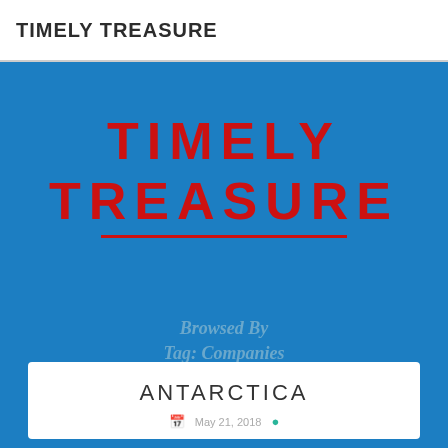TIMELY TREASURE
TIMELY TREASURE
Browsed By
Tag: Companies
ANTARCTICA
article meta/date line